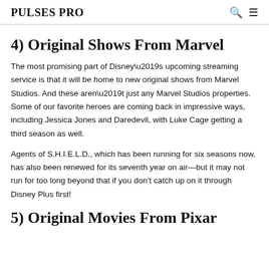PULSES PRO
4) Original Shows From Marvel
The most promising part of Disney’s upcoming streaming service is that it will be home to new original shows from Marvel Studios. And these aren’t just any Marvel Studios properties. Some of our favorite heroes are coming back in impressive ways, including Jessica Jones and Daredevil, with Luke Cage getting a third season as well.
Agents of S.H.I.E.L.D., which has been running for six seasons now, has also been renewed for its seventh year on air—but it may not run for too long beyond that if you don’t catch up on it through Disney Plus first!
5) Original Movies From Pixar